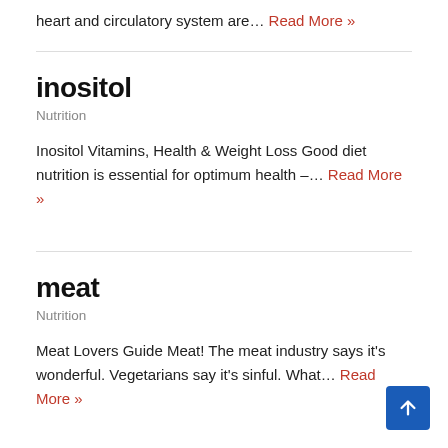heart and circulatory system are… Read More »
inositol
Nutrition
Inositol Vitamins, Health & Weight Loss Good diet nutrition is essential for optimum health –… Read More »
meat
Nutrition
Meat Lovers Guide Meat! The meat industry says it's wonderful. Vegetarians say it's sinful. What… Read More »